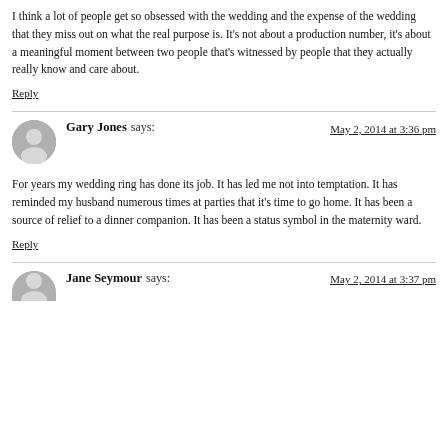I think a lot of people get so obsessed with the wedding and the expense of the wedding that they miss out on what the real purpose is. It's not about a production number, it's about a meaningful moment between two people that's witnessed by people that they actually really know and care about.
Reply
Gary Jones says: May 2, 2014 at 3:36 pm
For years my wedding ring has done its job. It has led me not into temptation. It has reminded my husband numerous times at parties that it's time to go home. It has been a source of relief to a dinner companion. It has been a status symbol in the maternity ward.
Reply
Jane Seymour says: May 2, 2014 at 3:37 pm